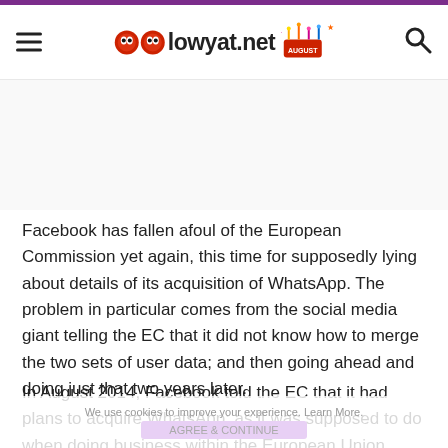lowyat.net
Facebook has fallen afoul of the European Commission yet again, this time for supposedly lying about details of its acquisition of WhatsApp. The problem in particular comes from the social media giant telling the EC that it did not know how to merge the two sets of user data; and then going ahead and doing just that two years later.
In August 2014, Facebook told the EC that it had plans to acquire WhatsApp; as it was supposed to do when doing business within the European Union. Information was